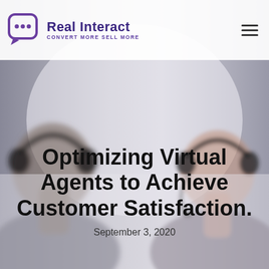[Figure (photo): Background photo of two customer service agents wearing headsets, blurred/faded, facing each other]
Real Interact CONVERT MORE SELL MORE
Optimizing Virtual Agents to Achieve Customer Satisfaction.
September 3, 2020